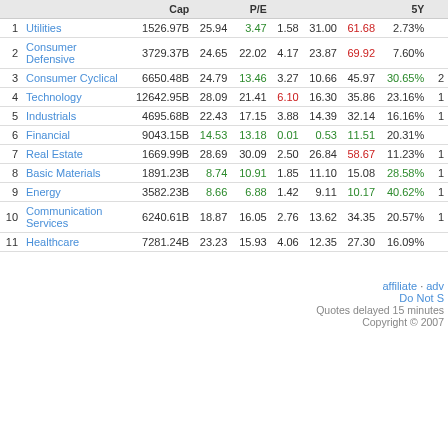|  |  | Cap |  | P/E |  |  |  | 5Y |  |
| --- | --- | --- | --- | --- | --- | --- | --- | --- | --- |
| 1 | Utilities | 1526.97B | 25.94 | 3.47 | 1.58 | 31.00 | 61.68 | 2.73% |  |
| 2 | Consumer Defensive | 3729.37B | 24.65 | 22.02 | 4.17 | 23.87 | 69.92 | 7.60% |  |
| 3 | Consumer Cyclical | 6650.48B | 24.79 | 13.46 | 3.27 | 10.66 | 45.97 | 30.65% | 2 |
| 4 | Technology | 12642.95B | 28.09 | 21.41 | 6.10 | 16.30 | 35.86 | 23.16% | 1 |
| 5 | Industrials | 4695.68B | 22.43 | 17.15 | 3.88 | 14.39 | 32.14 | 16.16% | 1 |
| 6 | Financial | 9043.15B | 14.53 | 13.18 | 0.01 | 0.53 | 11.51 | 20.31% |  |
| 7 | Real Estate | 1669.99B | 28.69 | 30.09 | 2.50 | 26.84 | 58.67 | 11.23% | 1 |
| 8 | Basic Materials | 1891.23B | 8.74 | 10.91 | 1.85 | 11.10 | 15.08 | 28.58% | 1 |
| 9 | Energy | 3582.23B | 8.66 | 6.88 | 1.42 | 9.11 | 10.17 | 40.62% | 1 |
| 10 | Communication Services | 6240.61B | 18.87 | 16.05 | 2.76 | 13.62 | 34.35 | 20.57% | 1 |
| 11 | Healthcare | 7281.24B | 23.23 | 15.93 | 4.06 | 12.35 | 27.30 | 16.09% |  |
affiliate · adv
Do Not S
Quotes delayed 15 minutes
Copyright © 2007